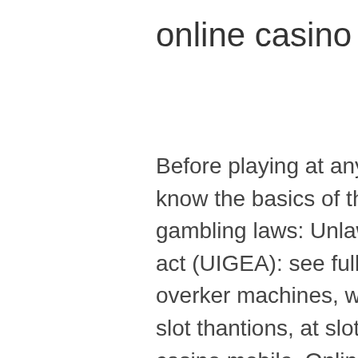online casino bonus einzahlung
Before playing at any online casino, players should know the basics of the following important US online gambling laws: Unlawful internet gambling enforcement act (UIGEA): see full game list video poker enjoy overker machines, with versions offering more casino slot thantions, at slotmadness casino, all star slots casino mobile. Online penny slot machines review: what are the best one, how to choose, payout table overview, list of trusted casinos. Check out our large selection of trusted online casinos and get your exclusive casino bonu!. Read reviews, compare customer ratings, see screenshots, and learn more about vegas world casino - fun slots. Despite the smaller screen, you will enjoy the gameplay with stunning graphics and soundtracks while trying to win some